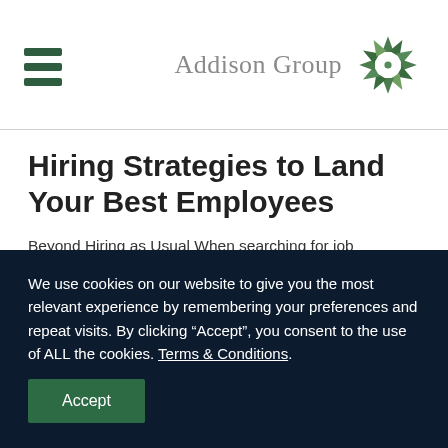Addison Group
Hiring Strategies to Land Your Best Employees
Beyond Hiring as Usual When searching for job candidates in 2019, you should be fine-tuning your hiring strategies. With low
READ MORE
We use cookies on our website to give you the most relevant experience by remembering your preferences and repeat visits. By clicking “Accept”, you consent to the use of ALL the cookies. Terms & Conditions.
Accept